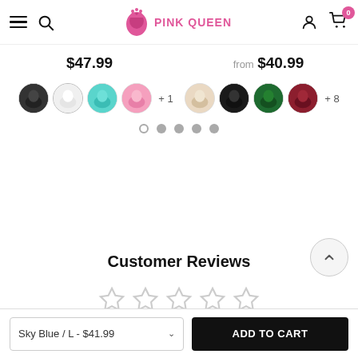PINK QUEEN
$47.99
from $40.99
[Figure (screenshot): Color swatch thumbnails for two product variants, with +1 and +8 more indicators]
[Figure (infographic): Pagination dots: one outlined dot and four filled grey dots]
Customer Reviews
[Figure (other): Five empty star rating icons]
Sky Blue / L - $41.99
ADD TO CART